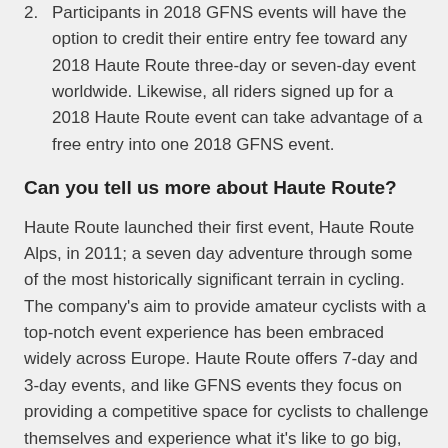2. Participants in 2018 GFNS events will have the option to credit their entire entry fee toward any 2018 Haute Route three-day or seven-day event worldwide. Likewise, all riders signed up for a 2018 Haute Route event can take advantage of a free entry into one 2018 GFNS event.
Can you tell us more about Haute Route?
Haute Route launched their first event, Haute Route Alps, in 2011; a seven day adventure through some of the most historically significant terrain in cycling. The company's aim to provide amateur cyclists with a top-notch event experience has been embraced widely across Europe. Haute Route offers 7-day and 3-day events, and like GFNS events they focus on providing a competitive space for cyclists to challenge themselves and experience what it's like to go big,